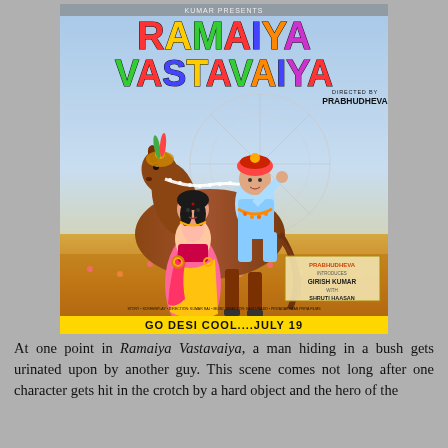[Figure (photo): Movie poster for 'Ramaiya Vastavaiya', a Bollywood film directed by Prabhudheva. The poster features colorful stylized title text at top, a man in traditional Indian attire riding a decorated horse, a woman in a pink and yellow saree standing beside the horse, ferris wheel in background, and a yellow banner at bottom reading 'GO DESI COOL...JULY 19'.]
At one point in Ramaiya Vastavaiya, a man hiding in a bush gets urinated upon by another guy. This scene comes not long after one character gets hit in the crotch by a hard object and the hero of the